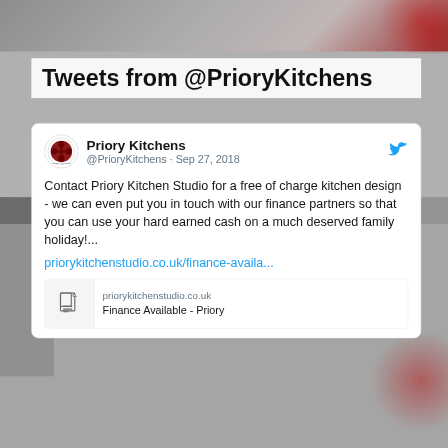[Figure (screenshot): Background photo of kitchen/framed art items with gray overlay, muted tones]
Tweets from @PrioryKitchens
Priory Kitchens @PrioryKitchens · Sep 27, 2018
Contact Priory Kitchen Studio for a free of charge kitchen design - we can even put you in touch with our finance partners so that you can use your hard earned cash on a much deserved family holiday!...
priorykitchenstudio.co.uk/finance-availa...
priorykitchenstudio.co.uk
Finance Available - Priory